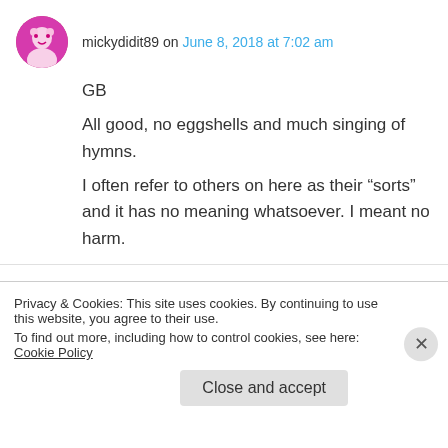mickydidit89 on June 8, 2018 at 7:02 am
GB

All good, no eggshells and much singing of hymns.

I often refer to others on here as their “sorts” and it has no meaning whatsoever. I meant no harm.
mickydidit89 on June 8, 2018 at 7:21 am
Ok. Chas gon work
Privacy & Cookies: This site uses cookies. By continuing to use this website, you agree to their use.
To find out more, including how to control cookies, see here: Cookie Policy